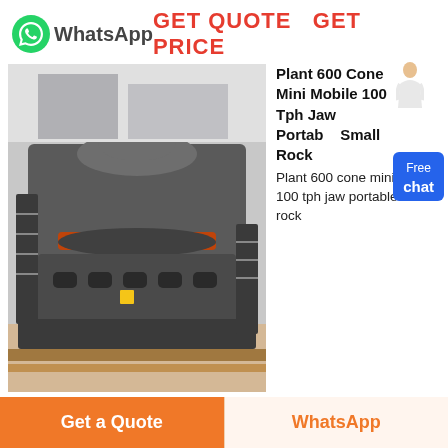[Figure (logo): WhatsApp green phone icon logo with text 'WhatsApp']
GET QUOTE  GET PRICE
[Figure (photo): Industrial cone crusher / jaw crusher machine — large grey metal crushing equipment on a factory floor]
Plant 600 Cone Mini Mobile 100 Tph Jaw Portable Small Rock
Plant 600 cone mini mobile 100 tph jaw portable small rock crushing stone crusher machine price can be used for fine crushing and coarse crushing. The highest compressive resistance of the crushed
Get a Quote
WhatsApp